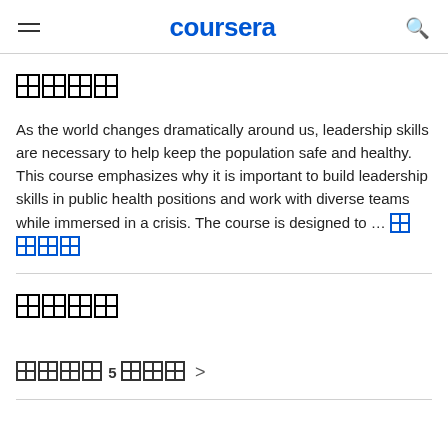coursera
⊠ ⊠ ⊠ ⊠
As the world changes dramatically around us, leadership skills are necessary to help keep the population safe and healthy. This course emphasizes why it is important to build leadership skills in public health positions and work with diverse teams while immersed in a crisis. The course is designed to ... ⊠⊠⊠⊠
⊠ ⊠ ⊠ ⊠
⊠⊠⊠⊠ 5 ⊠⊠⊠ >